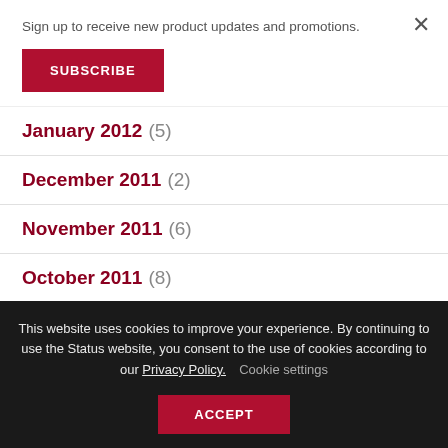Sign up to receive new product updates and promotions.
SUBSCRIBE
January 2012 (5)
December 2011 (2)
November 2011 (6)
October 2011 (8)
September 2011 (2)
August 2011 (4)
This website uses cookies to improve your experience. By continuing to use the Status website, you consent to the use of cookies according to our Privacy Policy. Cookie settings
ACCEPT